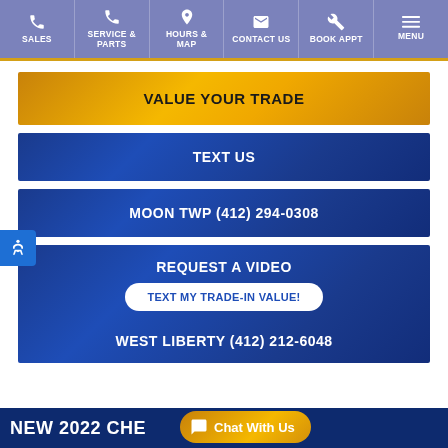SALES | SERVICE & PARTS | HOURS & MAP | CONTACT US | BOOK APPT | MENU
VALUE YOUR TRADE
TEXT US
MOON TWP (412) 294-0308
REQUEST A VIDEO
TEXT MY TRADE-IN VALUE!
WEST LIBERTY (412) 212-6048
NEW 2022 CHE
Chat With Us